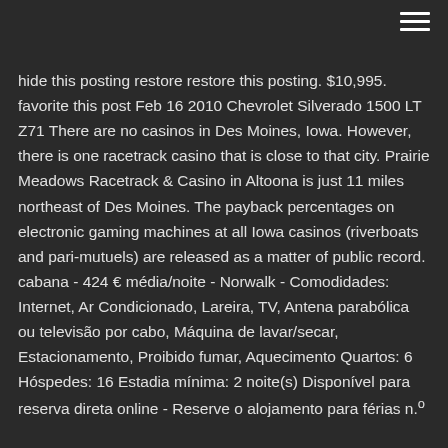hide this posting restore restore this posting. $10,995. favorite this post Feb 16 2010 Chevrolet Silverado 1500 LT Z71 There are no casinos in Des Moines, Iowa. However, there is one racetrack casino that is close to that city. Prairie Meadows Racetrack & Casino in Altoona is just 11 miles northeast of Des Moines. The payback percentages on electronic gaming machines at all Iowa casinos (riverboats and pari-mutuels) are released as a matter of public record. cabana - 424 € média/noite - Norwalk - Comodidades: Internet, Ar Condicionado, Lareira, TV, Antena parabólica ou televisão por cabo, Máquina de lavar/secar, Estacionamento, Proibido fumar, Aquecimento Quartos: 6 Hóspedes: 16 Estadia mínima: 2 noite(s) Disponível para reserva direta online - Reserve o alojamento para férias n.º